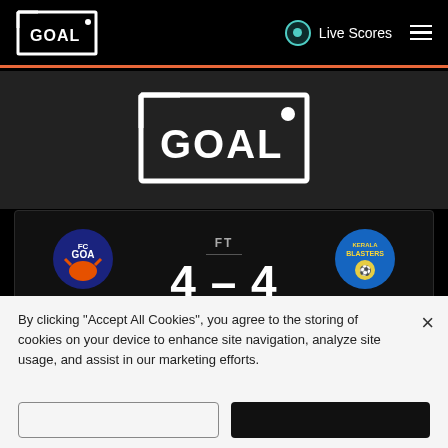GOAL | Live Scores
[Figure (logo): GOAL logo large centered]
FT
4 – 4
GOA
KER
Airam Cabrera (49)
Airam Cabrera (63 pen)
A. Dohling (79)
Airam Cabrera (82)
J. Pereyra (10)
J. Pereyra (25 pen)
V. Barretto (88)
Álvaro Vázquez (90)
By clicking "Accept All Cookies", you agree to the storing of cookies on your device to enhance site navigation, analyze site usage, and assist in our marketing efforts.